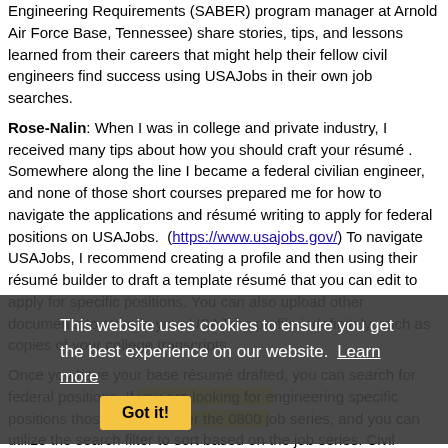Engineering Requirements (SABER) program manager at Arnold Air Force Base, Tennessee) share stories, tips, and lessons learned from their careers that might help their fellow civil engineers find success using USAJobs in their own job searches.
Rose-Nalin: When I was in college and private industry, I received many tips about how you should craft your résumé . Somewhere along the line I became a federal civilian engineer, and none of those short courses prepared me for how to navigate the applications and résumé writing to apply for federal positions on USAJobs.  (https://www.usajobs.gov/) To navigate USAJobs, I recommend creating a profile and then using their résumé builder to draft a template résumé that you can edit to apply for specific positions. You can also upload other documents to store in your USAJobs profile indefinitely, such as copies of your college transcripts.
Once you have your base résumé drafted, you can search for federal positions. If you are looking for engineering specific positions those will fall under the 0800 job series, and you can utilize the search filter to sort based on the job series. Civil